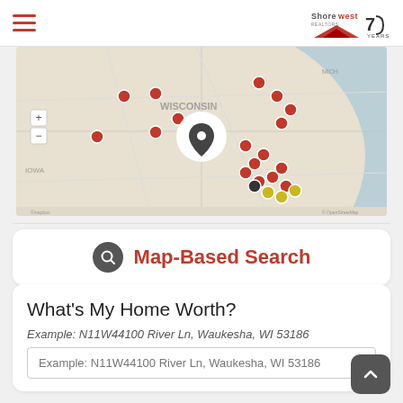Shorewest Realtors - 75 Years
[Figure (map): Interactive map of Wisconsin and surrounding area showing property listings as red and yellow pin markers, with a large location pin icon centered over the Milwaukee/Waukesha area. Lake Michigan visible on the right side.]
Map-Based Search
What's My Home Worth?
Example: N11W44100 River Ln, Waukesha, WI 53186
Example: N11W44100 River Ln, Waukesha, WI 53186